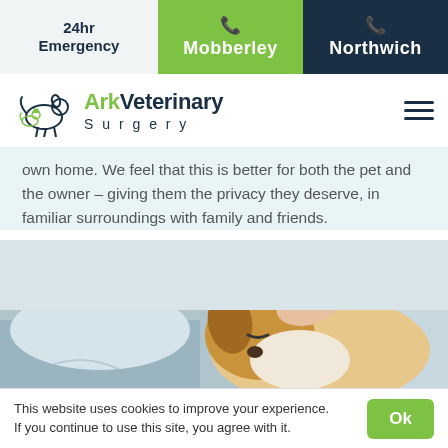24hr Emergency | Mobberley | Northwich
[Figure (logo): Ark Veterinary Surgery logo with animal silhouettes and hamburger menu]
own home. We feel that this is better for both the pet and the owner – giving them the privacy they deserve, in familiar surroundings with family and friends.
[Figure (photo): A brown and white dog lying on a bed being gently petted by a person's hand]
This website uses cookies to improve your experience. If you continue to use this site, you agree with it.